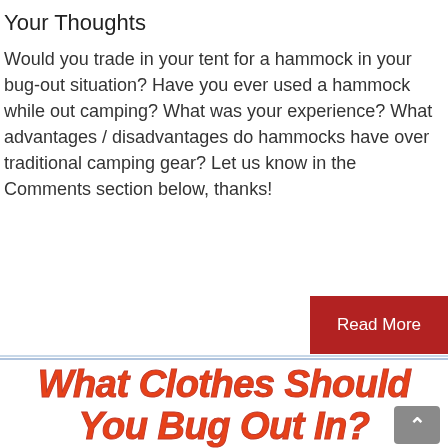Your Thoughts
Would you trade in your tent for a hammock in your bug-out situation? Have you ever used a hammock while out camping? What was your experience? What advantages / disadvantages do hammocks have over traditional camping gear? Let us know in the Comments section below, thanks!
[Figure (other): Red 'Read More' button]
What Clothes Should You Bug Out In?
[Figure (other): Partially visible icons at bottom of page and scroll-to-top button]